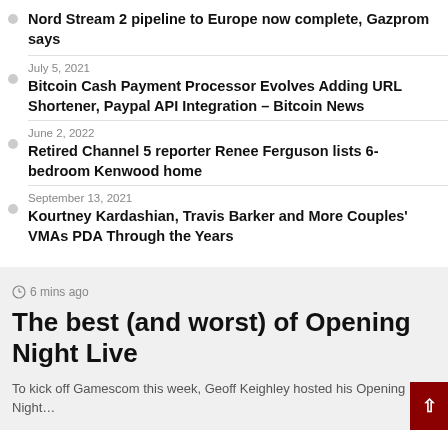Nord Stream 2 pipeline to Europe now complete, Gazprom says
July 5, 2021
Bitcoin Cash Payment Processor Evolves Adding URL Shortener, Paypal API Integration – Bitcoin News
June 2, 2022
Retired Channel 5 reporter Renee Ferguson lists 6-bedroom Kenwood home
September 13, 2021
Kourtney Kardashian, Travis Barker and More Couples' VMAs PDA Through the Years
6 mins ago
The best (and worst) of Opening Night Live
To kick off Gamescom this week, Geoff Keighley hosted his Opening Night…